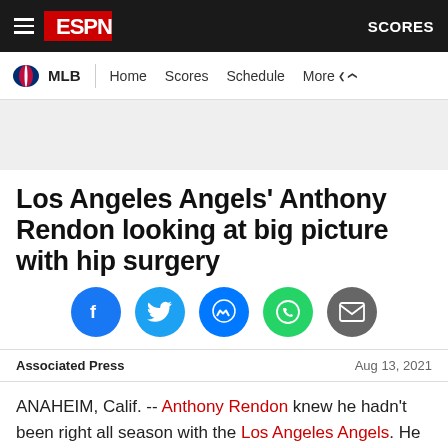ESPN  SCORES
MLB  Home  Scores  Schedule  More
[Figure (other): Gray advertisement banner area]
Los Angeles Angels' Anthony Rendon looking at big picture with hip surgery
[Figure (infographic): Social share buttons: Facebook, Twitter, Messenger, WhatsApp, Email]
Associated Press   Aug 13, 2021
ANAHEIM, Calif. -- Anthony Rendon knew he hadn't been right all season with the Los Angeles Angels. He just didn't